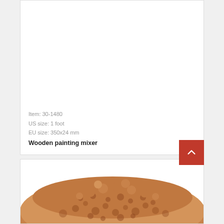[Figure (photo): Product image area (white/blank) for wooden painting mixer]
Item: 30-1480
US size: 1 foot
EU size: 350x24 mm
Wooden painting mixer
[Figure (photo): Close-up photo of a sponge with porous texture, brownish-orange color, viewed from the top showing honeycomb-like surface]